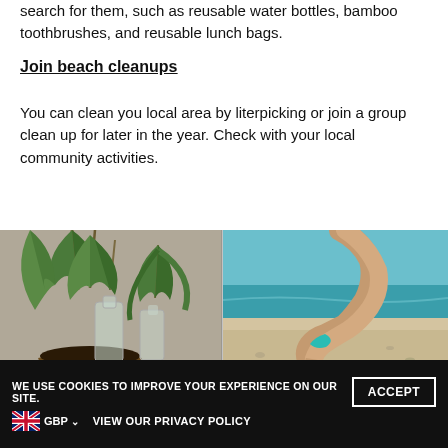search for them, such as reusable water bottles, bamboo toothbrushes, and reusable lunch bags.
Join beach cleanups
You can clean you local area by literpicking or join a group clean up for later in the year. Check with your local community activities.
[Figure (photo): Two side-by-side photos: left shows plants growing in recycled plastic bottles and a coconut shell, right shows a person's arm with a teal bracelet picking up a plastic bottle from a sandy beach.]
WE USE COOKIES TO IMPROVE YOUR EXPERIENCE ON OUR SITE. ACCEPT VIEW OUR PRIVACY POLICY GBP